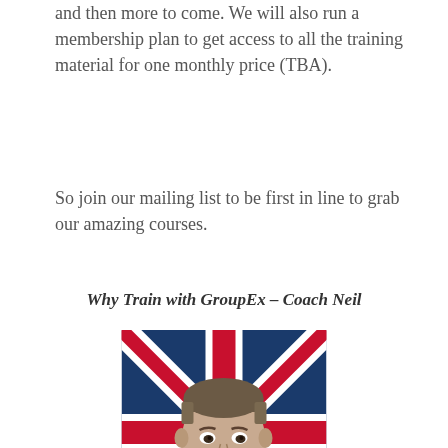and then more to come. We will also run a membership plan to get access to all the training material for one monthly price (TBA).
So join our mailing list to be first in line to grab our amazing courses.
Why Train with GroupEx – Coach Neil
[Figure (photo): Portrait photo of Coach Neil wearing a white martial arts gi, standing in front of a Union Jack (British flag). Man has short hair and is looking directly at camera.]
Coach Neil Shanghai Invitational